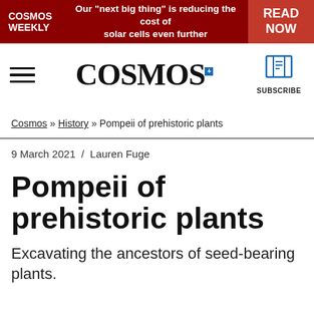COSMOS WEEKLY | Our "next big thing" is reducing the cost of solar cells even further | READ NOW
[Figure (logo): Cosmos magazine logo with hamburger menu and subscribe button]
Cosmos » History » Pompeii of prehistoric plants
9 March 2021 / Lauren Fuge
Pompeii of prehistoric plants
Excavating the ancestors of seed-bearing plants.